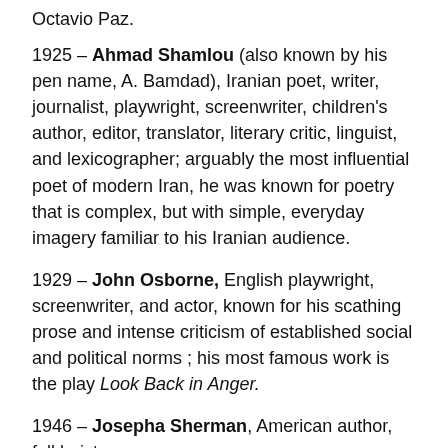Octavio Paz.
1925 – Ahmad Shamlou (also known by his pen name, A. Bamdad), Iranian poet, writer, journalist, playwright, screenwriter, children's author, editor, translator, literary critic, linguist, and lexicographer; arguably the most influential poet of modern Iran, he was known for poetry that is complex, but with simple, everyday imagery familiar to his Iranian audience.
1929 – John Osborne, English playwright, screenwriter, and actor, known for his scathing prose and intense criticism of established social and political norms ; his most famous work is the play Look Back in Anger.
1946 – Josepha Sherman, American author, folklorist,